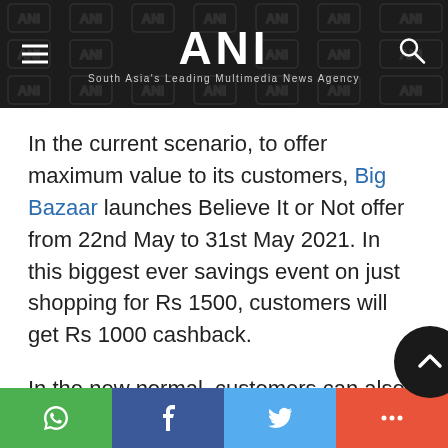ANI — South Asia's Leading Multimedia News Agency
In the current scenario, to offer maximum value to its customers, Big Bazaar launches Believe It or Not offer from 22nd May to 31st May 2021. In this biggest ever savings event on just shopping for Rs 1500, customers will get Rs 1000 cashback.
In the new normal, customers can also avail this offer from the safety of thei...
Social share buttons: WhatsApp, Facebook, Twitter, More